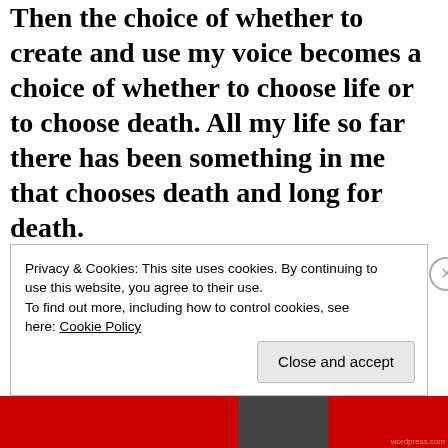Then the choice of whether to create and use my voice becomes a choice of whether to choose life or to choose death. All my life so far there has been something in me that chooses death and long for death.
Much, if not all, of the good in my life, has come from kicking at this voice and instead choosing life and hope, and clinging to this choice with everything I
Privacy & Cookies: This site uses cookies. By continuing to use this website, you agree to their use.
To find out more, including how to control cookies, see here: Cookie Policy